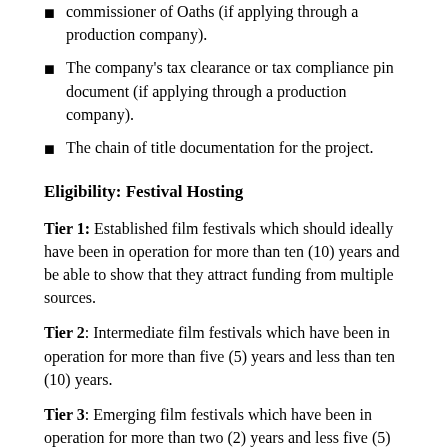commissioner of Oaths (if applying through a production company).
The company's tax clearance or tax compliance pin document (if applying through a production company).
The chain of title documentation for the project.
Eligibility: Festival Hosting
Tier 1: Established film festivals which should ideally have been in operation for more than ten (10) years and be able to show that they attract funding from multiple sources.
Tier 2: Intermediate film festivals which have been in operation for more than five (5) years and less than ten (10) years.
Tier 3: Emerging film festivals which have been in operation for more than two (2) years and less five (5) years.
Documentation and Information Required:
A synopsis describing why the festival is unique and what